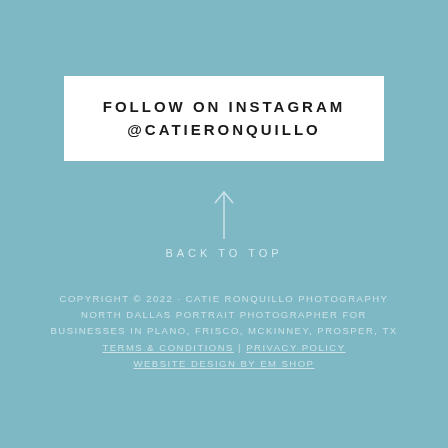FOLLOW ON INSTAGRAM
@CATIERONQUILLO
BACK TO TOP
COPYRIGHT © 2022 · CATIE RONQUILLO PHOTOGRAPHY NORTH DALLAS PORTRAIT PHOTOGRAPHER FOR BUSINESSES IN PLANO, FRISCO, MCKINNEY, PROSPER, TX Terms & Conditions | Privacy Policy WEBSITE DESIGN BY EM SHOP